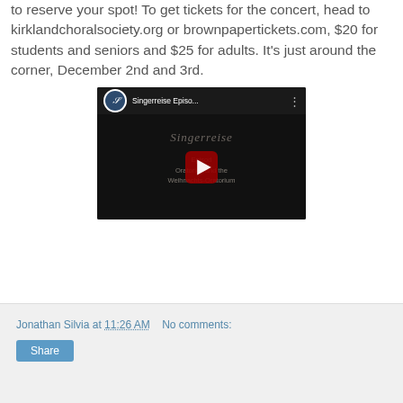to reserve your spot! To get tickets for the concert, head to kirklandchoralsociety.org or brownpapertickets.com, $20 for students and seniors and $25 for adults. It's just around the corner, December 2nd and 3rd.
[Figure (screenshot): YouTube video embed showing 'Singerreise Episo...' with a dark thumbnail displaying script text 'Singerreise', 'Episod', 'Oratorios and the Weihnachts-Oratorium' and a red play button in the center.]
Jonathan Silvia at 11:26 AM   No comments:
Share